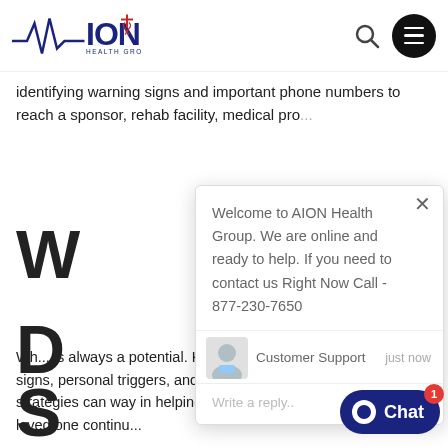[Figure (logo): AION Health Group logo with stylized A and medical cross/caduceus symbol]
identifying warning signs and important phone numbers to reach a sponsor, rehab facility, medical pro...
W
D
S
[Figure (screenshot): Chat popup overlay showing: 'Welcome to AION Health Group. We are online and ready to help. If you need to contact us Right Now Call - 877-230-7650' with Customer Support agent shown as 'just now' and a reply input field with thumbs up, paperclip, and emoji icons]
Wh... is always a potential. Knowing the signs, personal triggers, and preventative strategies can way in helping you or a loved one continu...